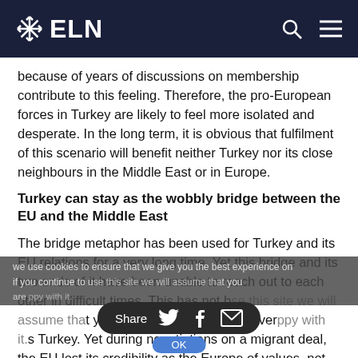ELN
because of years of discussions on membership contribute to this feeling. Therefore, the pro-European forces in Turkey are likely to feel more isolated and desperate. In the long term, it is obvious that fulfilment of this scenario will benefit neither Turkey nor its close neighbours in the Middle East or in Europe.
Turkey can stay as the wobbly bridge between the EU and the Middle East
The bridge metaphor has been used for Turkey and its EU relations for a very long time. Yet this bridge and its two ends of it have been unable to reach out to each other in difficult times. This has not been easy... migration crisis showed very clear roles Turkey. Yet during negotiations on a migrant deal, the EU lost its credibility as the Europe of values, not only